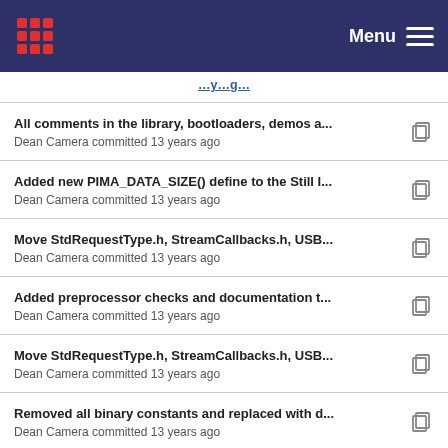Menu
All comments in the library, bootloaders, demos a...
Dean Camera committed 13 years ago
Added new PIMA_DATA_SIZE() define to the Still I...
Dean Camera committed 13 years ago
Move StdRequestType.h, StreamCallbacks.h, USB...
Dean Camera committed 13 years ago
Added preprocessor checks and documentation t...
Dean Camera committed 13 years ago
Move StdRequestType.h, StreamCallbacks.h, USB...
Dean Camera committed 13 years ago
Removed all binary constants and replaced with d...
Dean Camera committed 13 years ago
Added preprocessor checks and documentation t...